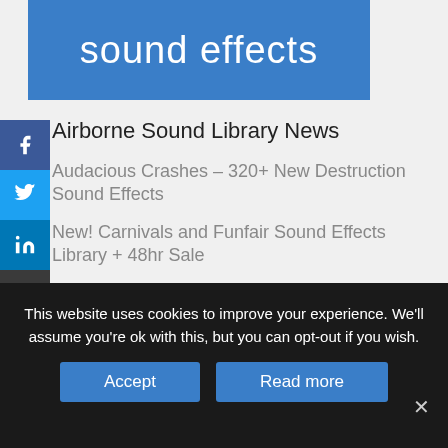sound effects
Airborne Sound Library News
Audacious Crashes – 320+ New Destruction Sound Effects
New! Carnivals and Funfair Sound Effects Library + 48hr Sale
How to Record Funfair Sounds – 4 Traps to Avoid
This website uses cookies to improve your experience. We'll assume you're ok with this, but you can opt-out if you wish.